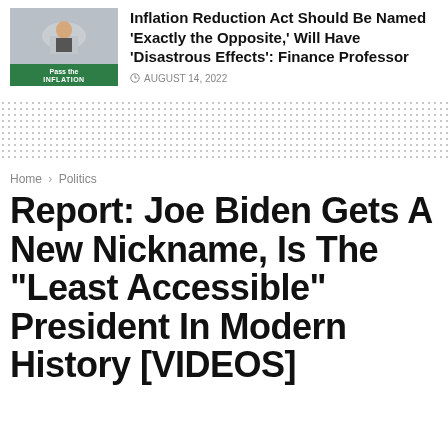[Figure (photo): Thumbnail image of a person at a podium with a green banner reading 'Pass the INFLATION']
Inflation Reduction Act Should Be Named 'Exactly the Opposite,' Will Have 'Disastrous Effects': Finance Professor
AUGUST 14, 2022
Home › Politics
Report: Joe Biden Gets A New Nickname, Is The "Least Accessible" President In Modern History [VIDEOS]